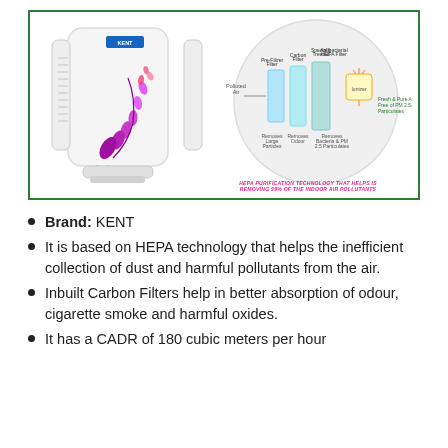[Figure (photo): KENT Aura air purifier device on the left with floral design, and a circular diagram on the right showing the filtration process: Polluted Air → Pre/Carbon/HEPA filters → Ionizer → Fresh & Pure Air Free of PM 2.5. Caption below in pink: HEPA PURIFICATION TECHNOLOGY THAT HELPS IN REMOVING 99% OF THE INDOOR AIR POLLUTANTS]
Brand: KENT
It is based on HEPA technology that helps the inefficient collection of dust and harmful pollutants from the air.
Inbuilt Carbon Filters help in better absorption of odour, cigarette smoke and harmful oxides.
It has a CADR of 180 cubic meters per hour